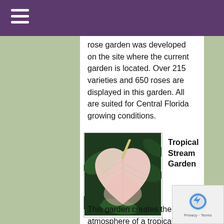rose garden was developed on the site where the current garden is located. Over 215 varieties and 650 roses are displayed in this garden. All are suited for Central Florida growing conditions.
[Figure (photo): A pink anthurium flower with a white-to-pink spathe and yellow spadix, photographed against dark green tropical foliage.]
Tropical Stream Garden
This garden creates the atmosphere of a tropical rainforest with a gurgling stream that winds its way into Lake Rowena. Many tropical